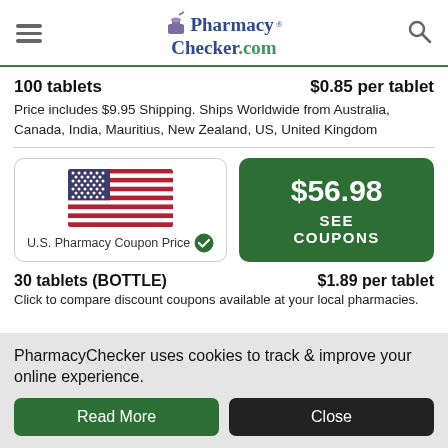PharmacyChecker.com
100 tablets   $0.85 per tablet
Price includes $9.95 Shipping. Ships Worldwide from Australia, Canada, India, Mauritius, New Zealand, US, United Kingdom
[Figure (other): U.S. flag and green price button showing $56.98 SEE COUPONS]
30 tablets (BOTTLE)   $1.89 per tablet
Click to compare discount coupons available at your local pharmacies.
PharmacyChecker uses cookies to track & improve your online experience.